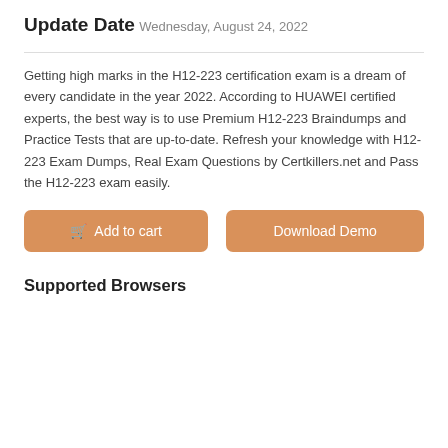Update Date
Wednesday, August 24, 2022
Getting high marks in the H12-223 certification exam is a dream of every candidate in the year 2022. According to HUAWEI certified experts, the best way is to use Premium H12-223 Braindumps and Practice Tests that are up-to-date. Refresh your knowledge with H12-223 Exam Dumps, Real Exam Questions by Certkillers.net and Pass the H12-223 exam easily.
[Figure (other): Two orange buttons: 'Add to cart' with a cart icon and 'Download Demo']
Supported Browsers